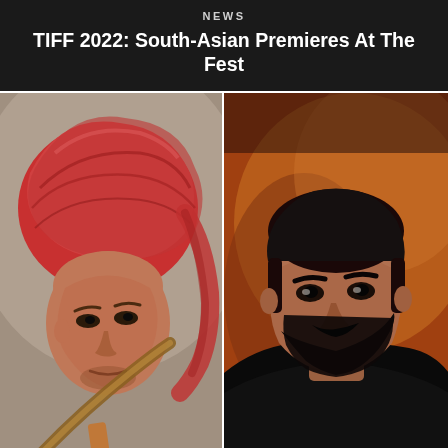NEWS
TIFF 2022: South-Asian Premieres At The Fest
[Figure (photo): Actor in costume wearing a red turban, in a dramatic warrior-like pose, looking intensely forward]
[Figure (photo): Dark-haired bearded man in a black shirt against a warm orange-brown blurred background, looking seriously at the camera]